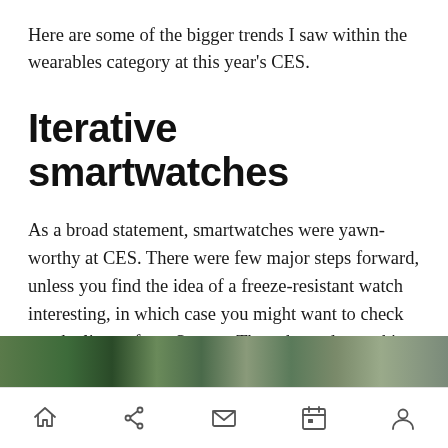Here are some of the bigger trends I saw within the wearables category at this year's CES.
Iterative smartwatches
As a broad statement, smartwatches were yawn-worthy at CES. There were few major steps forward, unless you find the idea of a freeze-resistant watch interesting, in which case you might want to check out the lineup from Suunto. They showed a working watch frozen in an actual block of ice.
[Figure (photo): Partial photo strip visible at bottom of content area showing what appears to be an outdoor or event scene]
Navigation bar with home, share, mail, calendar, and profile icons